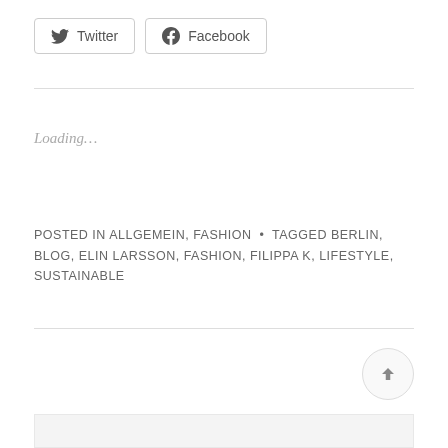[Figure (other): Twitter and Facebook share buttons]
Loading…
POSTED IN ALLGEMEIN, FASHION • TAGGED BERLIN, BLOG, ELIN LARSSON, FASHION, FILIPPA K, LIFESTYLE, SUSTAINABLE